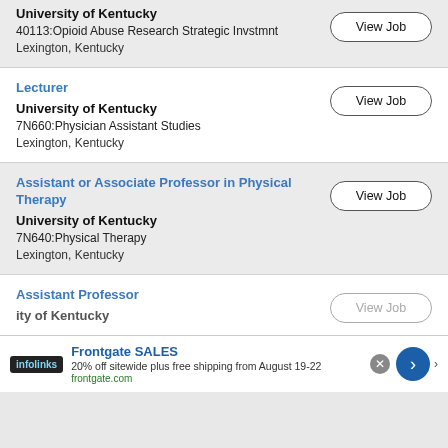University of Kentucky
40113:Opioid Abuse Research Strategic Invstmnt
Lexington, Kentucky
Lecturer
University of Kentucky
7N660:Physician Assistant Studies
Lexington, Kentucky
Assistant or Associate Professor in Physical Therapy
University of Kentucky
7N640:Physical Therapy
Lexington, Kentucky
Assistant Professor
University of Kentucky
[Figure (screenshot): Infolinks advertisement bar with Frontgate SALES promotion: 20% off sitewide plus free shipping from August 19-22, frontgate.com]